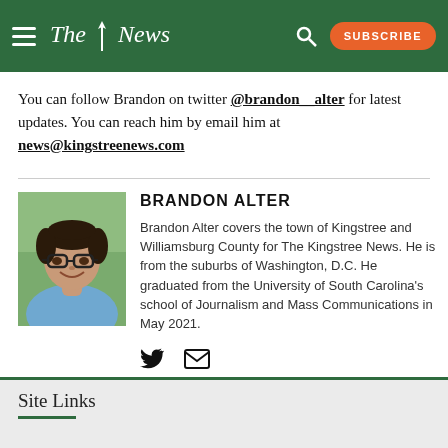The News — SUBSCRIBE
You can follow Brandon on twitter @brandon__alter for latest updates. You can reach him by email him at news@kingstreenews.com
[Figure (photo): Headshot photo of Brandon Alter, a young man with dark curly hair and glasses, wearing a blue shirt, smiling, outdoors with greenery behind him.]
BRANDON ALTER
Brandon Alter covers the town of Kingstree and Williamsburg County for The Kingstree News. He is from the suburbs of Washington, D.C. He graduated from the University of South Carolina's school of Journalism and Mass Communications in May 2021.
Site Links